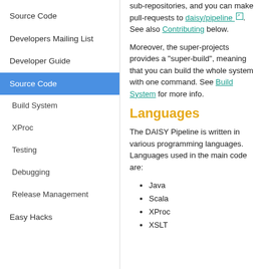Source Code
Developers Mailing List
Developer Guide
Source Code (active)
Build System
XProc
Testing
Debugging
Release Management
Easy Hacks
sub-repositories, and you can make pull-requests to daisy/pipeline. See also Contributing below.
Moreover, the super-projects provides a "super-build", meaning that you can build the whole system with one command. See Build System for more info.
Languages
The DAISY Pipeline is written in various programming languages. Languages used in the main code are:
Java
Scala
XProc
XSLT